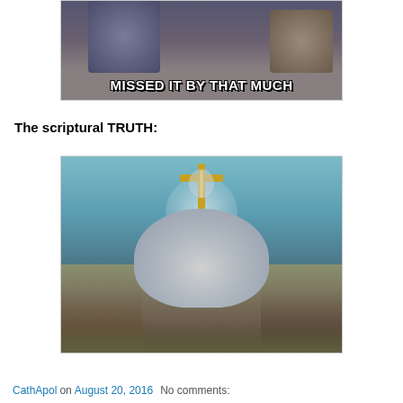[Figure (photo): Meme image showing two men in suits laughing with text overlay reading 'MISSED IT BY THAT MUCH']
The scriptural TRUTH:
[Figure (photo): Religious painting/illustration showing a crucifixion scene with large hands in the foreground holding or surrounding a figure on a cross, with a crowd below and ocean/sky in background]
CathApol on August 20, 2016   No comments: